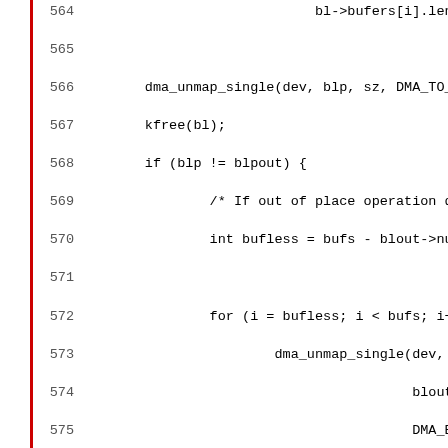[Figure (screenshot): Source code listing in C, lines 564-595, showing DMA unmap and kfree operations, an out-of-place operation block, and the beginning of the qat_alg_sgl_to_bufl static function. A red vertical bar marks the left margin.]